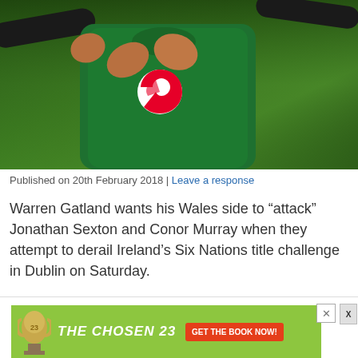[Figure (photo): Rugby player in green Ireland jersey with Vodafone logo, hands raised in a clapping or applauding gesture, photographed against a blurred green background]
Published on 20th February 2018 | Leave a response
Warren Gatland wants his Wales side to “attack” Jonathan Sexton and Conor Murray when they attempt to derail Ireland’s Six Nations title challenge in Dublin on Saturday.
[Figure (other): Advertisement banner: THE CHOSEN 23 - GET THE BOOK NOW! with a trophy illustration on a green background]